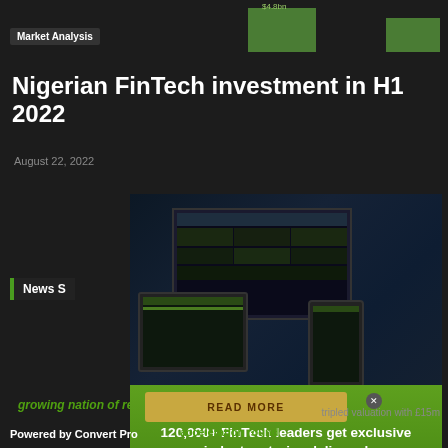Market Analysis
Nigerian FinTech investment in H1 2022
August 22, 2022
News S[tories]
[...] er
[Figure (screenshot): Popup modal showing a website mockup on monitor, tablet, and phone devices against a dark blue tech background]
READ MORE
120,000+ FinTech leaders get exclusive industry stories delivered
growing nation of renters
First name *
Your email address
I WANT IN TOO!
[...] tripled valuation with £15m acceleration round
Powered by Convert Pro